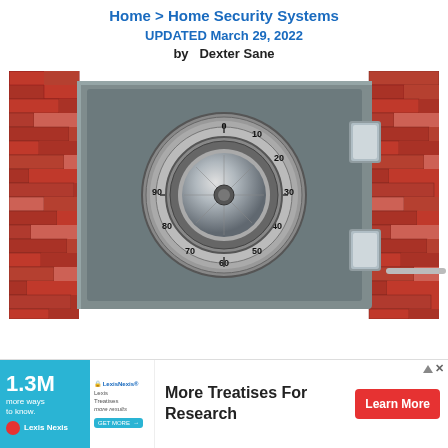Home > Home Security Systems UPDATED March 29, 2022
by  Dexter Sane
[Figure (illustration): Illustration of a metal bank safe/vault with a combination dial lock, flanked by red brick walls on both sides. The vault is gray metal with two silver hinges/bolts on the right side. The combination lock shows numbers 0, 10, 20, 30, 40, 50, 60, 70, 80, 90 around the dial.]
[Figure (infographic): Advertisement banner for Lexis Nexis. Left side has a cyan/teal background with '1.3M more ways to know' text and Lexis Nexis logo. Middle section shows a screenshot of a document/product interface with a 'Get More' button. Right side shows 'More Treatises For Research' in bold text with a red 'Learn More' button. Top right has an ad disclosure triangle and X close button.]